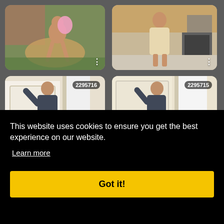[Figure (photo): Grid of four photo thumbnails showing women in various poses and settings. Top-left: woman sitting in wicker chair outdoors with pink balloon. Top-right: woman standing in kitchen. Bottom-left: woman in dark robe by door, ID badge 2295716. Bottom-right: woman in dark robe by door, ID badge 2295715.]
This website uses cookies to ensure you get the best experience on our website.
Learn more
Got it!